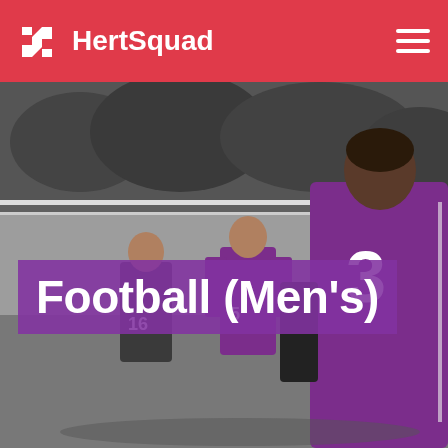HertSquad
[Figure (photo): Football players in purple jerseys with numbers 3, 5, and 16 on their backs, viewed from behind on a football pitch. Image is partially desaturated/black-and-white with purple color retained on jerseys.]
Football (Men's)